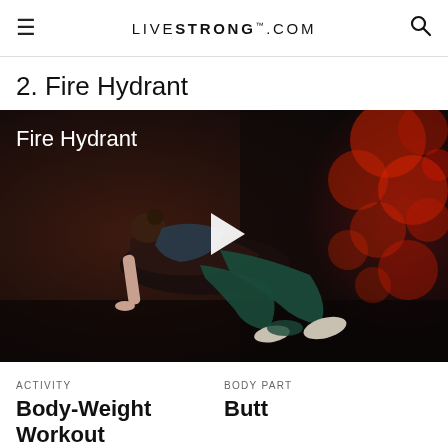LIVESTRONG.COM
2. Fire Hydrant
[Figure (photo): Video thumbnail showing a woman in a fire hydrant exercise position on all fours on a dark floor, with red bokeh lights in the background. A white play button triangle is overlaid in the center. Text 'Fire Hydrant' appears in white at the top left.]
ACTIVITY
Body-Weight Workout
BODY PART
Butt